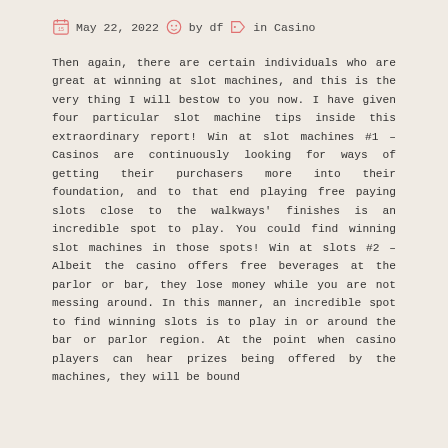May 22, 2022  by df  in Casino
Then again, there are certain individuals who are great at winning at slot machines, and this is the very thing I will bestow to you now. I have given four particular slot machine tips inside this extraordinary report! Win at slot machines #1 – Casinos are continuously looking for ways of getting their purchasers more into their foundation, and to that end playing free paying slots close to the walkways' finishes is an incredible spot to play. You could find winning slot machines in those spots! Win at slots #2 – Albeit the casino offers free beverages at the parlor or bar, they lose money while you are not messing around. In this manner, an incredible spot to find winning slots is to play in or around the bar or parlor region. At the point when casino players can hear prizes being offered by the machines, they will be bound